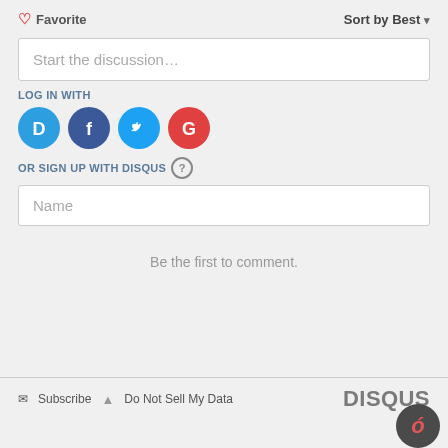♡ Favorite
Sort by Best ▾
Start the discussion…
LOG IN WITH
[Figure (infographic): Four social login icons: Disqus (blue speech bubble with D), Facebook (dark blue circle with f), Twitter (light blue circle with bird), Google (red circle with G)]
OR SIGN UP WITH DISQUS ?
Name
Be the first to comment.
✉ Subscribe  ▲ Do Not Sell My Data
DISQUS